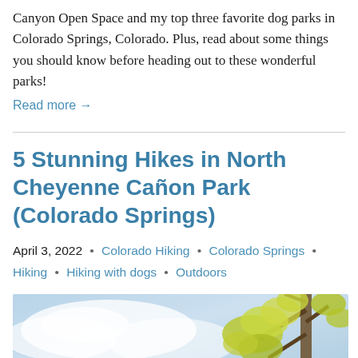Canyon Open Space and my top three favorite dog parks in Colorado Springs, Colorado. Plus, read about some things you should know before heading out to these wonderful parks!
Read more →
5 Stunning Hikes in North Cheyenne Cañon Park (Colorado Springs)
April 3, 2022  •  Colorado Hiking  •  Colorado Springs  •  Hiking  •  Hiking with dogs  •  Outdoors
[Figure (photo): Photo showing blue sky with white clouds and tree branches with yellow-green foliage in the upper right corner, likely taken at North Cheyenne Cañon Park.]